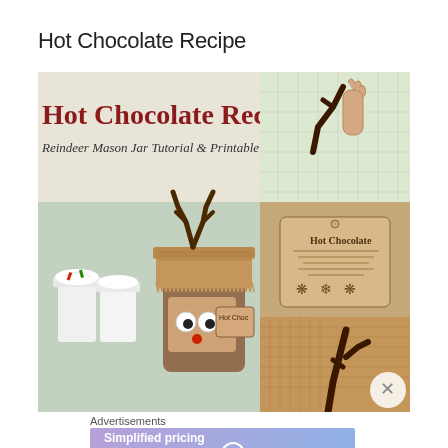Hot Chocolate Recipe
[Figure (photo): Collage of hot chocolate recipe images: main large image showing a mason jar decorated as a reindeer with googly eyes, burlap wrap, antlers made of pipe cleaners, and a tag reading 'Hot Choc', with mugs of hot chocolate with whipped cream in the background. Top right shows hands making chocolate antlers on parchment. Middle right shows a kraft paper tag labeled 'Hot Chocolate'. Bottom right shows burlap fabric with chocolate antlers.]
Advertisements
[Figure (screenshot): WordPress.com advertisement banner with purple-to-blue gradient background. Text reads 'Simplified pricing for everything you need.' with WordPress.com logo on the right.]